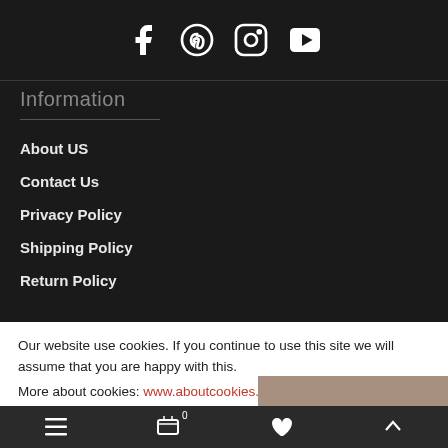[Figure (infographic): Social media icons: Facebook, Pinterest, Instagram, YouTube on dark background]
Information
About US
Contact Us
Privacy Policy
Shipping Policy
Return Policy
Our website use cookies. If you continue to use this site we will assume that you are happy with this.
More about cookies: www.aboutcookies.org
Menu | Cart 0 | Wishlist | Top